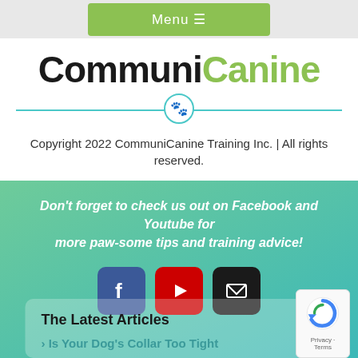Menu ☰
CommuniCanine
Copyright 2022 CommuniCanine Training Inc. | All rights reserved.
Don't forget to check us out on Facebook and Youtube for more paw-some tips and training advice!
[Figure (illustration): Social media icons: Facebook (blue), YouTube (red), Email (black)]
The Latest Articles
Is Your Dog's Collar Too Tight